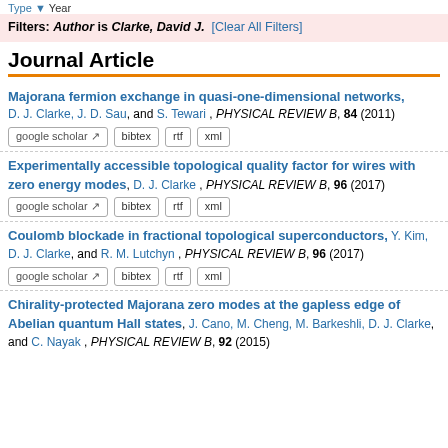Type ▼ Year
Filters: Author is Clarke, David J. [Clear All Filters]
Journal Article
Majorana fermion exchange in quasi-one-dimensional networks, D. J. Clarke, J. D. Sau, and S. Tewari, PHYSICAL REVIEW B, 84 (2011)
Experimentally accessible topological quality factor for wires with zero energy modes, D. J. Clarke, PHYSICAL REVIEW B, 96 (2017)
Coulomb blockade in fractional topological superconductors, Y. Kim, D. J. Clarke, and R. M. Lutchyn, PHYSICAL REVIEW B, 96 (2017)
Chirality-protected Majorana zero modes at the gapless edge of Abelian quantum Hall states, J. Cano, M. Cheng, M. Barkeshli, D. J. Clarke, and C. Nayak, PHYSICAL REVIEW B, 92 (2015)